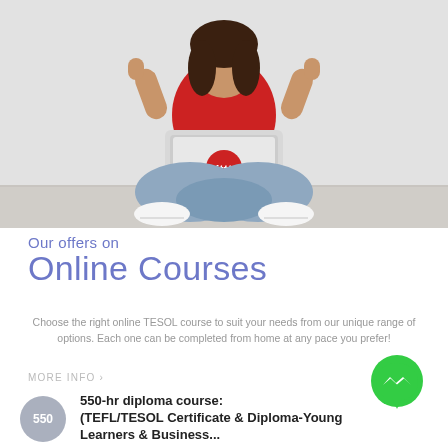[Figure (photo): Young woman in red top and jeans sitting cross-legged on floor, holding up a silver laptop with ITTT logo, giving thumbs up pose]
Our offers on
Online Courses
Choose the right online TESOL course to suit your needs from our unique range of options. Each one can be completed from home at any pace you prefer!
MORE INFO >
[Figure (logo): Green Facebook Messenger icon circle]
550-hr diploma course:
(TEFL/TESOL Certificate & Diploma-Young Learners & Business...